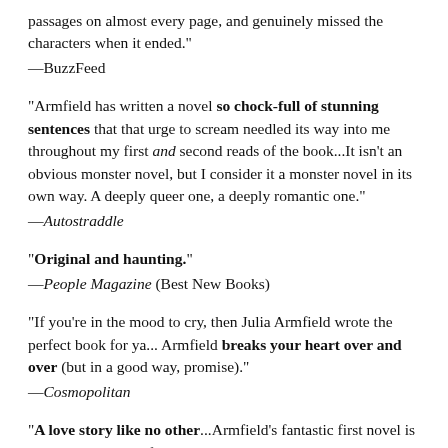passages on almost every page, and genuinely missed the characters when it ended."
—BuzzFeed
"Armfield has written a novel so chock-full of stunning sentences that that urge to scream needled its way into me throughout my first and second reads of the book...It isn't an obvious monster novel, but I consider it a monster novel in its own way. A deeply queer one, a deeply romantic one."
—Autostraddle
"Original and haunting."
—People Magazine (Best New Books)
"If you're in the mood to cry, then Julia Armfield wrote the perfect book for ya... Armfield breaks your heart over and over (but in a good way, promise)."
—Cosmopolitan
"A love story like no other...Armfield's fantastic first novel is about the pockets of unknowability that pop up in even the closest relationships, and reads like the worst kind of the...